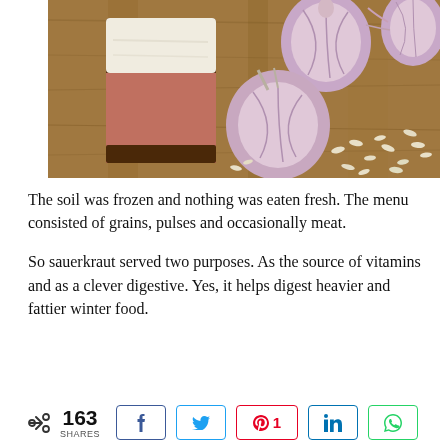[Figure (photo): Bacon/pork belly slice and garlic cloves on a wooden cutting board with rice grains scattered around]
The soil was frozen and nothing was eaten fresh. The menu consisted of grains, pulses and occasionally meat.
So sauerkraut served two purposes. As the source of vitamins and as a clever digestive. Yes, it helps digest heavier and fattier winter food.
163 SHARES  [Facebook share button]  [Twitter share button]  [Pinterest 1]  [LinkedIn share button]  [WhatsApp share button]